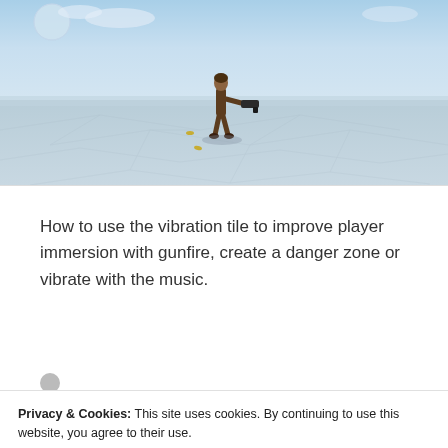[Figure (screenshot): 3D game environment screenshot showing a character holding a gun in a flat, cracked desert/salt flat terrain with a blue sky and a planet or moon visible in the background.]
How to use the vibration tile to improve player immersion with gunfire, create a danger zone or vibrate with the music.
Privacy & Cookies: This site uses cookies. By continuing to use this website, you agree to their use.
To find out more, including how to control cookies, see here: Cookie Policy